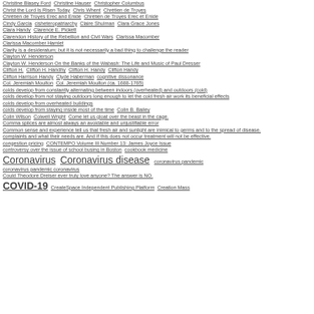Christine Blasey Ford  Christine Hauser  Christopher Columbus
Christ the Lord Is Risen Today  Chris Whent  Chrétien de Troyes
Chrétien de Troyes Erec and Enide  Chrétien de Troyes Erec et Enide
Cindy Garcia  cisheteropatriarchy  Claire Shulman  Clara Grace Jones
Clara Handy  Clarence E. Pickett
Clarendon History of the Rebellion and Civil Wars  Clarissa Macomber
Clarissa Macomber Hamlet
Clarity is a desideratum; but it is not necessarily a bad thing to challenge the reader
Clayton W. Henderson
Clayton W. Henderson On the Banks of the Wabash: The Life and Music of Paul Dresser
Clifton H.  Clifton H. Handhy  Clifton H. Handy  Clifton Handy
Clifton Harrison Handy  Clyde Haberman  cognitive dissonance
Col. Jeremiah Moulton  Col. Jeremiah Moulton (ca. 1688-1765)
colds develop from constantly alternating between indoors (overheated) and outdoors (cold)
colds develop from not staying outdoors long enough to let the cold fresh air work its beneficial effects
colds develop from overheated buildings
colds develop from staying inside most of the time  Colin B. Bailey
Colin Wilson  Colwell Wright  Come let us gloat over the beast in the cage.
Comma splices are almost always an avoidable and unjustifiable error
Common sense and experience tell us that fresh air and sunlight are inimical to germs and to the spread of disease.
complaints and what their needs are. And if this does not occur treatment will not be effective.
congestion pricing  CONTEMPO Volume III Number 13: James Joyce Issue
controversy over the issue of school busing in Boston  cookbook medicine
Coronavirus  Coronavirus disease  coronavirus pandemic
coronavirus pandemic coronavirus
Could Theodore Dreiser ever truly love anyone? The answer is NO.
COVID-19  CreateSpace Independent Publishing Platform  Creation Mass